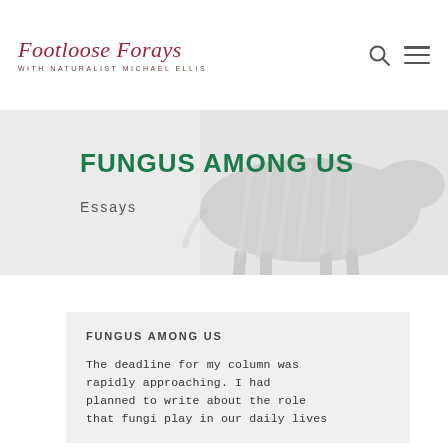Footloose Forays WITH NATURALIST MICHAEL ELLIS
[Figure (photo): Grayscale/faded photo of a zebra running, used as hero banner background.]
FUNGUS AMONG US
Essays
FUNGUS AMONG US
The deadline for my column was rapidly approaching. I had planned to write about the role that fungi play in our daily lives